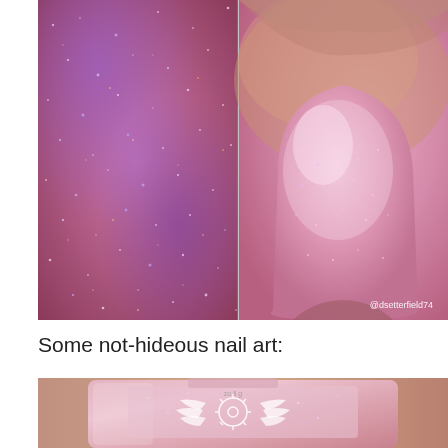[Figure (photo): Two close-up macro photos of glittery shimmer nail polish side by side. Left image shows a sparkly pink-purple duochrome shimmer texture on skin. Right image shows a painted fingernail with pink shimmer polish, with watermark '@dsetterfield74' in bottom right corner.]
Some not-hideous nail art:
[Figure (photo): Close-up photo of a nail polish bottle with pink shimmer polish, showing decorative white floral/sun design on the label. The bottle appears to contain the same pink shimmer polish shown above.]